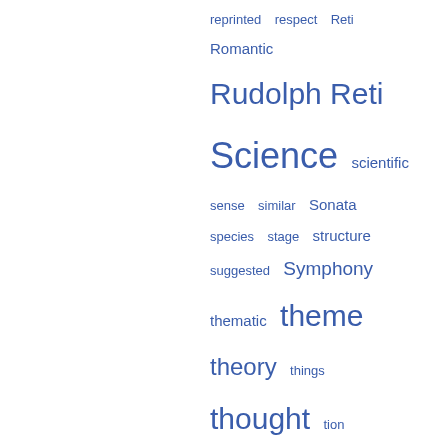[Figure (other): Tag cloud with words related to musical theory and science, displayed in various font sizes in blue color. Words include: reprinted, respect, Reti, Romantic, Rudolph Reti, Science, scientific, sense, similar, Sonata, species, stage, structure, suggested, Symphony, thematic, theme, theory, things, thought, tion, transformation, unity, University Press, Whitehead, whole, writes, York]
Populárne pasáže
Strana 16 - It is written in the language of mathematics, and its